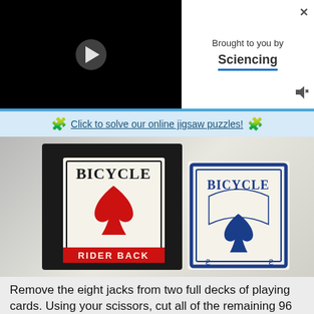[Figure (screenshot): Video player with black background and white play button triangle in center]
Brought to you by
Sciencing
[Figure (photo): Two Bicycle brand playing card decks side by side — a red Rider Back deck on the left and a blue Bicycle deck on the right, showing the front face with spade logo]
🧩 Click to solve our online jigsaw puzzles! 🧩
Remove the eight jacks from two full decks of playing cards. Using your scissors, cut all of the remaining 96 cards in half horizontally.